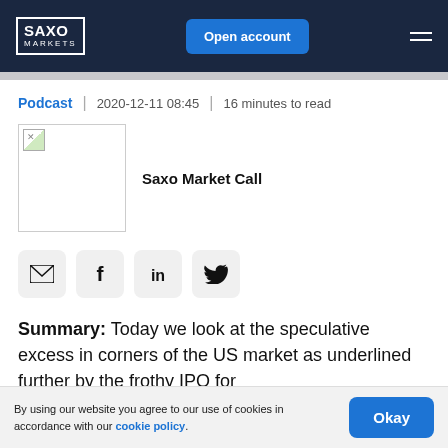SAXO MARKETS | Open account
Podcast | 2020-12-11 08:45 | 16 minutes to read
[Figure (other): Podcast thumbnail image (broken) for Saxo Market Call]
Saxo Market Call
[Figure (infographic): Social share icons: email, Facebook, LinkedIn, Twitter]
Summary: Today we look at the speculative excess in corners of the US market as underlined further by the frothy IPO for
By using our website you agree to our use of cookies in accordance with our cookie policy.